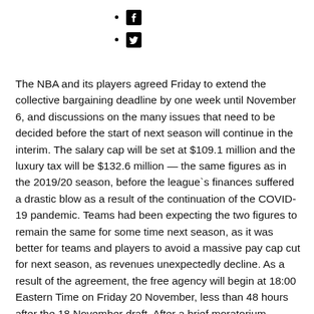[Facebook icon]
[Twitter icon]
The NBA and its players agreed Friday to extend the collective bargaining deadline by one week until November 6, and discussions on the many issues that need to be decided before the start of next season will continue in the interim. The salary cap will be set at $109.1 million and the luxury tax will be $132.6 million — the same figures as in the 2019/20 season, before the league's finances suffered a drastic blow as a result of the continuation of the COVID-19 pandemic. Teams had been expecting the two figures to remain the same for some time next season, as it was better for teams and players to avoid a massive pay cap cut for next season, as revenues unexpectedly decline. As a result of the agreement, the free agency will begin at 18:00 Eastern Time on Friday 20 November, less than 48 hours after the 18 November draft. After a brief moratorium, signatures